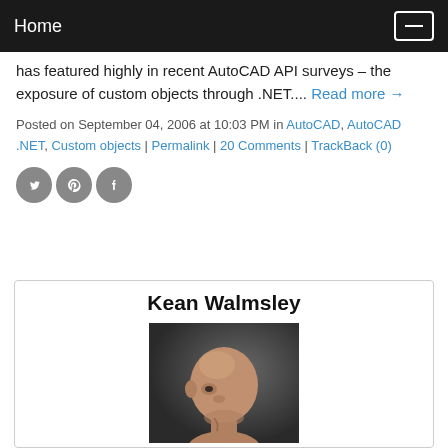Home
has featured highly in recent AutoCAD API surveys – the exposure of custom objects through .NET.... Read more →
Posted on September 04, 2006 at 10:03 PM in AutoCAD, AutoCAD .NET, Custom objects | Permalink | 20 Comments | TrackBack (0)
[Figure (other): Social sharing icons: Twitter, Pinterest, Facebook]
Kean Walmsley
[Figure (photo): Portrait photo of Kean Walmsley, a bald man, side profile facing left, dark background]